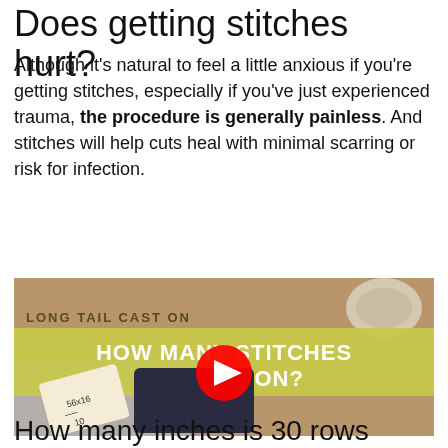Does getting stitches hurt?
Although it’s natural to feel a little anxious if you’re getting stitches, especially if you’ve just experienced trauma, the procedure is generally painless. And stitches will help cuts heal with minimal scarring or risk for infection.
[Figure (screenshot): YouTube video thumbnail titled 'LONG TAIL CAST ON – HOW MANY STITCHES TO CAST ON?' showing hands using a calculator and note with '56x16/10', yarn in background, with YouTube play button overlay]
How many inches is 30 rows